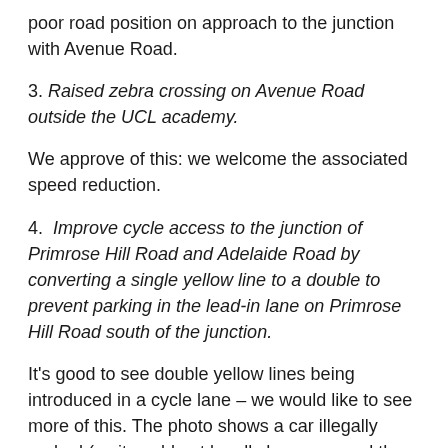poor road position on approach to the junction with Avenue Road.
3. Raised zebra crossing on Avenue Road outside the UCL academy.
We approve of this: we welcome the associated speed reduction.
4. Improve cycle access to the junction of Primrose Hill Road and Adelaide Road by converting a single yellow line to a double to prevent parking in the lead-in lane on Primrose Hill Road south of the junction.
It's good to see double yellow lines being introduced in a cycle lane – we would like to see more of this. The photo shows a car illegally parked (as it could not legally have crossed the solid line outside the cycle lane) on the solid line between the